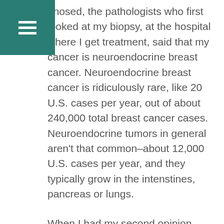gnosed, the pathologists who first looked at my biopsy, at the hospital where I get treatment, said that my cancer is neuroendocrine breast cancer. Neuroendocrine breast cancer is ridiculously rare, like 20 U.S. cases per year, out of about 240,000 total breast cancer cases. Neuroendocrine tumors in general aren't that common–about 12,000 U.S. cases per year, and they typically grow in the intenstines, pancreas or lungs.
When I had my second opinion, they sent that same biopsy sample off to a different lab, for a different pathologist to look at it. That pathologist said it was invasive ductal carcinoma with neuroendocrine features. Now, invasive ductal carcinoma is the most common form of breast cancer, but it having neuroendocrine features isn't that common. My oncologist and I scratched our